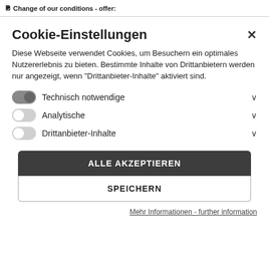Change of our conditions - offer:
Cookie-Einstellungen
Diese Webseite verwendet Cookies, um Besuchern ein optimales Nutzererlebnis zu bieten. Bestimmte Inhalte von Drittanbietern werden nur angezeigt, wenn "Drittanbieter-Inhalte" aktiviert sind.
Technisch notwendige
Analytische
Drittanbieter-Inhalte
ALLE AKZEPTIEREN
SPEICHERN
Mehr Informationen - further information